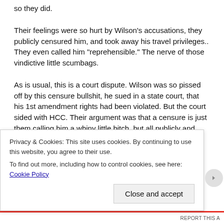so they did.
Their feelings were so hurt by Wilson’s accusations, they publicly censured him, and took away his travel privileges.. They even called him “reprehensible.” The nerve of those vindictive little scumbags.
As is usual, this is a court dispute. Wilson was so pissed off by this censure bullshit, he sued in a state court, that his 1st amendment rights had been violated. But the court sided with HCC. Their argument was that a censure is just them calling him a whiny little bitch, but all publicly and shit. It doesn’t violate his first amendment rights. He can still do his job, and say whatever the fuck he wants. They weren’t hurting him at
Privacy & Cookies: This site uses cookies. By continuing to use this website, you agree to their use.
To find out more, including how to control cookies, see here: Cookie Policy
Close and accept